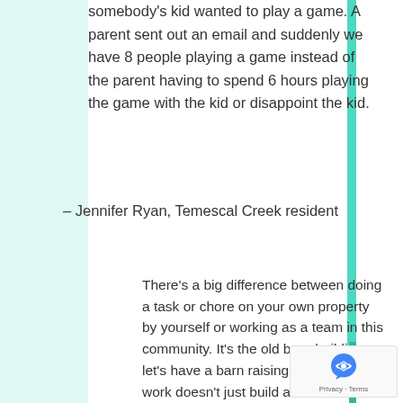somebody's kid wanted to play a game. A parent sent out an email and suddenly we have 8 people playing a game instead of the parent having to spend 6 hours playing the game with the kid or disappoint the kid.
– Jennifer Ryan, Temescal Creek resident
There's a big difference between doing a task or chore on your own property by yourself or working as a team in this community. It's the old barn building, let's have a barn raising. That kind of work doesn't just build a